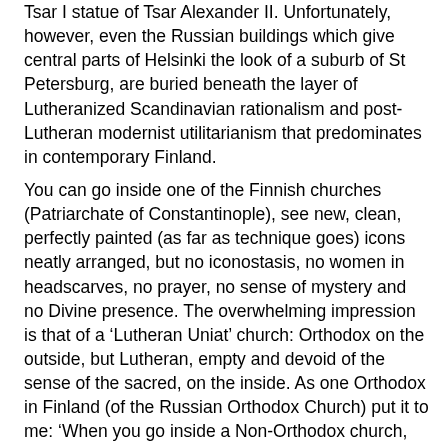Tsar I statue of Tsar Alexander II. Unfortunately, however, even the Russian buildings which give central parts of Helsinki the look of a suburb of St Petersburg, are buried beneath the layer of Lutheranized Scandinavian rationalism and post-Lutheran modernist utilitarianism that predominates in contemporary Finland.
You can go inside one of the Finnish churches (Patriarchate of Constantinople), see new, clean, perfectly painted (as far as technique goes) icons neatly arranged, but no iconostasis, no women in headscarves, no prayer, no sense of mystery and no Divine presence. The overwhelming impression is that of a ‘Lutheran Uniat’ church: Orthodox on the outside, but Lutheran, empty and devoid of the sense of the sacred, on the inside. As one Orthodox in Finland (of the Russian Orthodox Church) put it to me: ‘When you go inside a Non-Orthodox church, you are visiting a museum, it is of interest, but God is not present’. You have the same feeling in many such ‘Finnish Orthodox’ churches. They appear to be